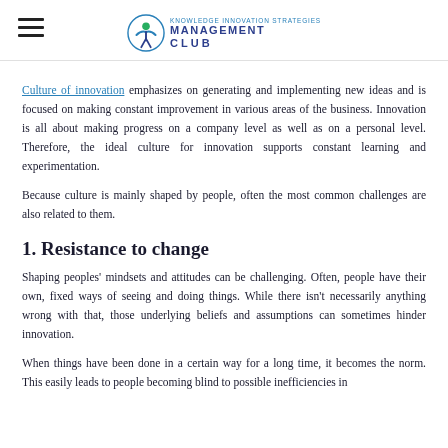MANAGEMENT CLUB
Culture of innovation emphasizes on generating and implementing new ideas and is focused on making constant improvement in various areas of the business. Innovation is all about making progress on a company level as well as on a personal level. Therefore, the ideal culture for innovation supports constant learning and experimentation.
Because culture is mainly shaped by people, often the most common challenges are also related to them.
1. Resistance to change
Shaping peoples' mindsets and attitudes can be challenging. Often, people have their own, fixed ways of seeing and doing things. While there isn't necessarily anything wrong with that, those underlying beliefs and assumptions can sometimes hinder innovation.
When things have been done in a certain way for a long time, it becomes the norm. This easily leads to people becoming blind to possible inefficiencies in